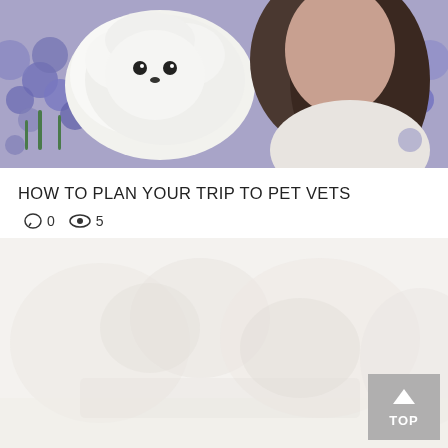[Figure (photo): A woman holding a white fluffy pet (dog or cat) against a background of blue/purple flowers]
HOW TO PLAN YOUR TRIP TO PET VETS
💬 0  👁 5
[Figure (photo): A faded/washed out second photo, likely related to pet vets or animals, very light and barely visible]
↑ TOP